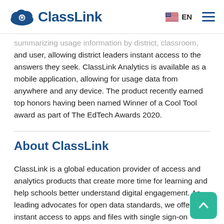ClassLink | EN
summarizing usage information by district, classroom, and user, allowing district leaders instant access to the answers they seek. ClassLink Analytics is available as a mobile application, allowing for usage data from anywhere and any device. The product recently earned top honors having been named Winner of a Cool Tool award as part of The EdTech Awards 2020.
About ClassLink
ClassLink is a global education provider of access and analytics products that create more time for learning and help schools better understand digital engagement. As leading advocates for open data standards, we offer instant access to apps and files with single sign-on